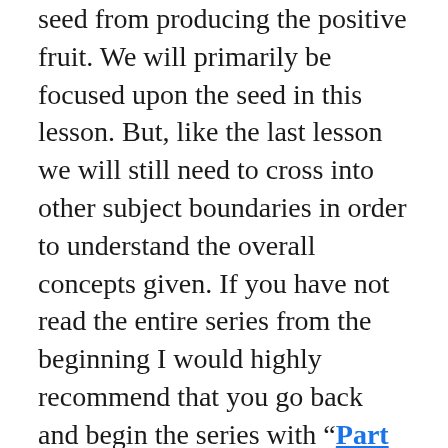seed from producing the positive fruit.  We will primarily be focused upon the seed in this lesson.  But, like the last lesson we will still need to cross into other subject boundaries in order to understand the overall concepts given. If you have not read the entire series from the beginning I would highly recommend that you go back and begin the series with "Part 1" first.

This is an amazing Bible subject.  We could spend a lot oftime writing books and books on it.  However, that is not reasonable for a blog Bible study.  There are many people who want only a couple of paragraphs on any subject and if it is too long they just won't read it.  There are also those like me that enjoy reading and studying the Bible and can't get enough to read.  Whichever one you are I pray you will at least give it your best effort.  I will try not to write too much or too little on the subject of the seed.  I pray that I